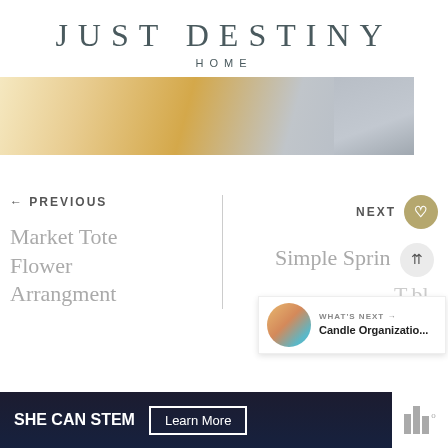JUST DESTINY
HOME
[Figure (photo): Close-up of light wood surface, possibly a cutting board or table, with metallic objects partially visible on the right side.]
← PREVIOUS
Market Tote Flower Arrangment
NEXT ♡
Simple Sprin Table
WHAT'S NEXT → Candle Organizatio...
SHE CAN STEM   Learn More